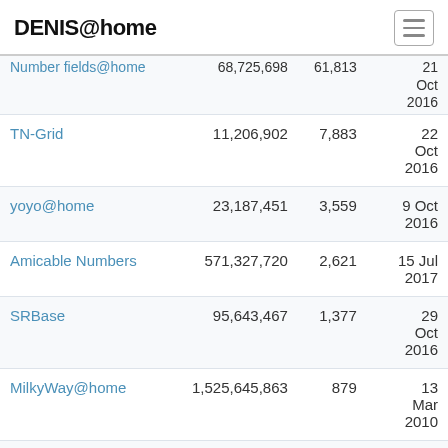DENIS@home
| Project | Total credit | Hosts | Last result |
| --- | --- | --- | --- |
| Number fields@home | 68,725,698 | 61,813 | 21 Oct 2016 |
| TN-Grid | 11,206,902 | 7,883 | 22 Oct 2016 |
| yoyo@home | 23,187,451 | 3,559 | 9 Oct 2016 |
| Amicable Numbers | 571,327,720 | 2,621 | 15 Jul 2017 |
| SRBase | 95,643,467 | 1,377 | 29 Oct 2016 |
| MilkyWay@home | 1,525,645,863 | 879 | 13 Mar 2010 |
| World Community | 123,525,789 | 791 | 2 Dec |